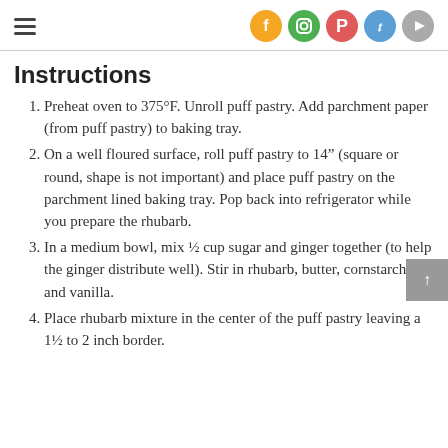hamburger menu + social icons (Facebook, Instagram, Pinterest, Twitter, YouTube)
Instructions
Preheat oven to 375°F. Unroll puff pastry. Add parchment paper (from puff pastry) to baking tray.
On a well floured surface, roll puff pastry to 14" (square or round, shape is not important) and place puff pastry on the parchment lined baking tray. Pop back into refrigerator while you prepare the rhubarb.
In a medium bowl, mix ½ cup sugar and ginger together (to help the ginger distribute well). Stir in rhubarb, butter, cornstarch, and vanilla.
Place rhubarb mixture in the center of the puff pastry leaving a 1½ to 2 inch border.